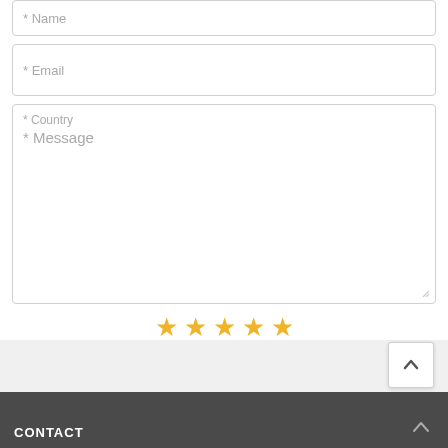[Figure (screenshot): Form field placeholder: * Name]
[Figure (screenshot): Form field placeholder: * Email]
[Figure (screenshot): Form textarea with placeholders: * Country and * Message, with resize handle]
[Figure (other): 5 gold star rating icons]
[Figure (other): Submit a Review button and paperclip attachment button]
CONTACT